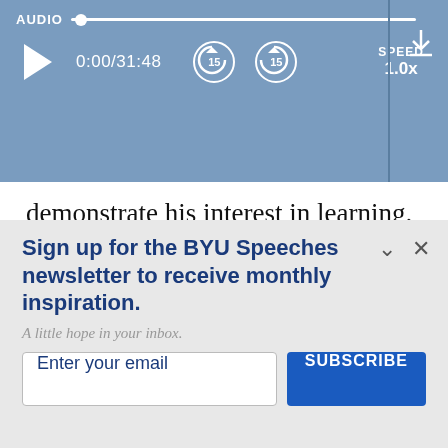[Figure (screenshot): Audio player bar with AUDIO label, slider track, play button, time display 0:00/31:48, rewind 15 and forward 15 buttons, SPEED 1.0x, and download icon]
demonstrate his interest in learning. When he began his career, he was told there was no opportunity for African Americans in the children's book publishing industry, but h persisted and is now both illustrating and
Sign up for the BYU Speeches newsletter to receive monthly inspiration.
A little hope in your inbox.
Enter your email
SUBSCRIBE